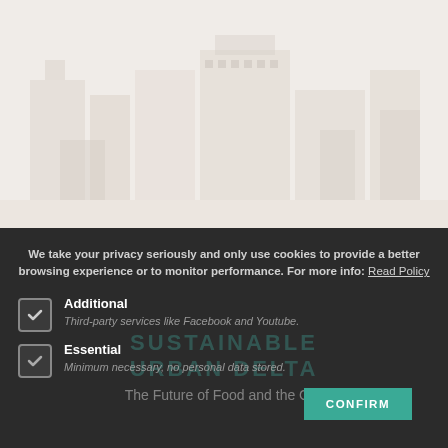[Figure (photo): Faded/washed-out aerial or street-level photo of an urban scene with buildings, appearing very light/desaturated.]
We take your privacy seriously and only use cookies to provide a better browsing experience or to monitor performance. For more info: Read Policy
Additional
Third-party services like Facebook and Youtube.
Essential
Minimum necessary, no personal data stored.
SUSTAINABLE URBAN DELTA
The Future of Food and the City
CONFIRM